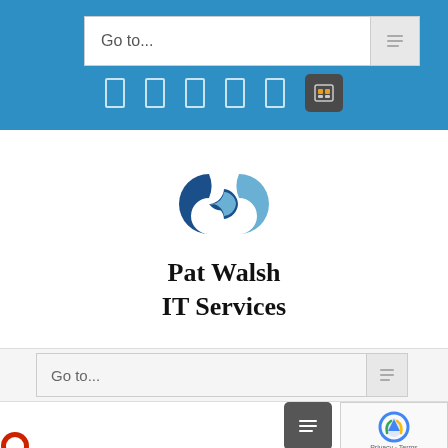[Figure (screenshot): Blue navigation header bar with a 'Go to...' search input box and navigation icon tabs at the bottom]
[Figure (logo): Pat Walsh IT Services logo: two interlocking chain-link rings in dark blue and light blue, with company name 'Pat Walsh IT Services' in bold serif font below]
[Figure (screenshot): Second 'Go to...' search bar in a light gray background at the bottom of the main content area]
[Figure (screenshot): Dark gray square button and reCAPTCHA widget with 'Privacy · Terms' text in the bottom right corner]
[Figure (logo): Partial logo visible in the bottom left corner]